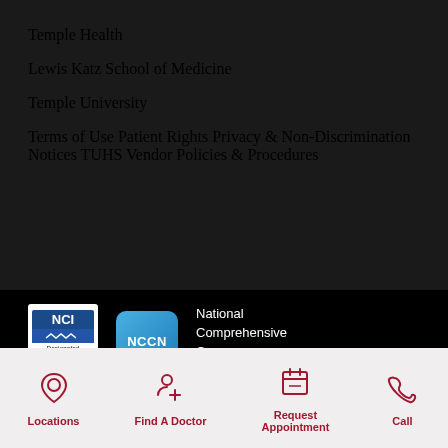Temple Health
Lewis Katz School of Medicine
Temple University
Terms of Use
Patient Rights
Privacy & Non-Discrimination Notices
TUHS Vendor Policies & Procedures
[Figure (logo): NCI Designated Comprehensive Cancer Center badge]
[Figure (logo): NCCN National Comprehensive Cancer Network logo]
National Comprehensive Cancer Network®
Locations
Find A Doctor
Request Appointment
Call